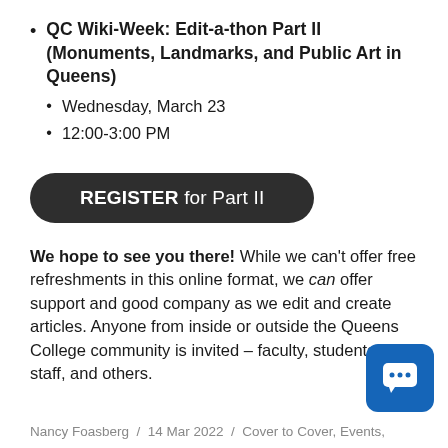QC Wiki-Week: Edit-a-thon Part II (Monuments, Landmarks, and Public Art in Queens)
Wednesday, March 23
12:00-3:00 PM
[Figure (other): Dark rounded button with text: REGISTER for Part II]
We hope to see you there! While we can't offer free refreshments in this online format, we can offer support and good company as we edit and create articles. Anyone from inside or outside the Queens College community is invited – faculty, students, staff, and others.
Nancy Foasberg / 14 Mar 2022 / Cover to Cover, Events,